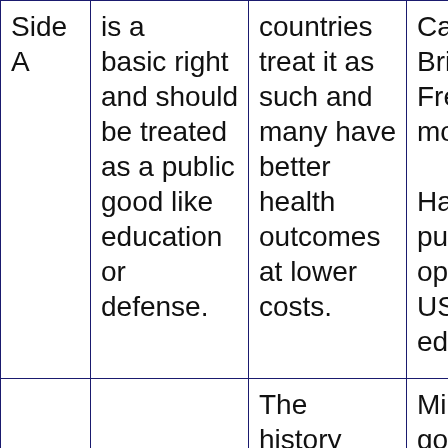| Side A | is a basic right and should be treated as a public good like education or defense. | countries treat it as such and many have better health outcomes at lower costs. | Canada, British, French model.

Have a public option like US public education |
|  |  | The history of the Soviet Union, China, Cu... | Minimi... govern... |